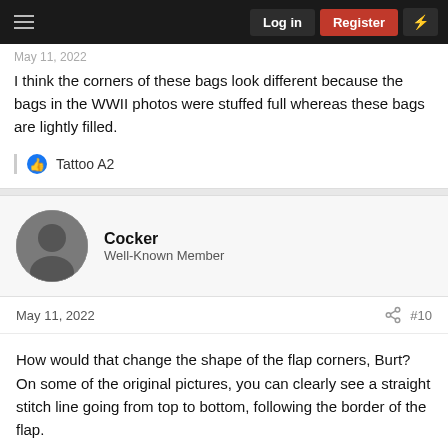Log in | Register
I think the corners of these bags look different because the bags in the WWII photos were stuffed full whereas these bags are lightly filled.
Tattoo A2
Cocker
Well-Known Member
May 11, 2022   #10
How would that change the shape of the flap corners, Burt? On some of the original pictures, you can clearly see a straight stitch line going from top to bottom, following the border of the flap.
Edit: and indeed, the straps are sewn on the top of the flap instead of inside of it on the british haversacks. So yeah, defo